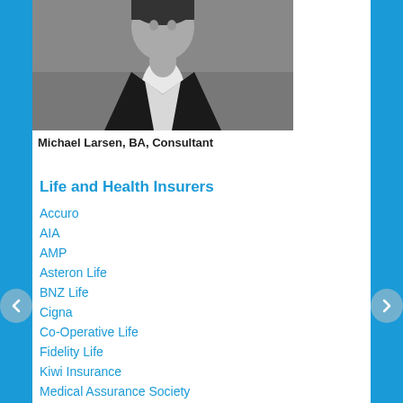[Figure (photo): Black and white photo of Michael Larsen, a man in a suit jacket with white shirt, photographed against a blurred outdoor background.]
Michael Larsen, BA, Consultant
Life and Health Insurers
Accuro
AIA
AMP
Asteron Life
BNZ Life
Cigna
Co-Operative Life
Fidelity Life
Kiwi Insurance
Medical Assurance Society